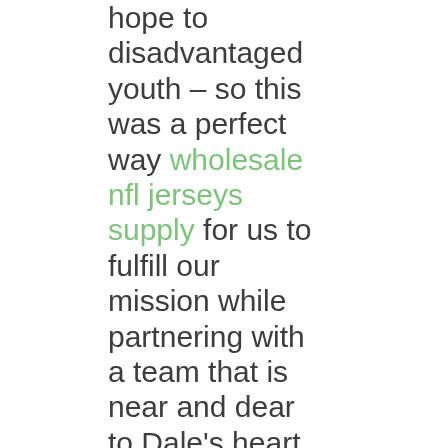hope to disadvantaged youth – so this was a perfect way wholesale nfl jerseys supply for us to fulfill our mission while partnering with a team that is near and dear to Dale's heart, said Emily DiNunzio, Development Director for